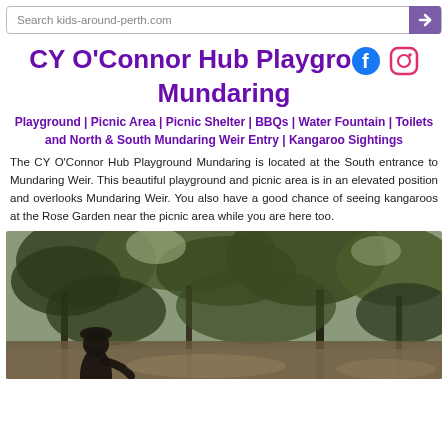Search kids-around-perth.com
CY O'Connor Hub Playground Mundaring
Playground | Picnic Area | Picnic Shelter | BBQs | Water Fountain | Toilets and North & South Mundaring Weir Entry | Kangaroo Sightings
The CY O'Connor Hub Playground Mundaring is located at the South entrance to Mundaring Weir. This beautiful playground and picnic area is in an elevated position and overlooks Mundaring Weir. You also have a good chance of seeing kangaroos at the Rose Garden near the picnic area while you are here too.
[Figure (photo): Photo of a dark statue or figure in silhouette surrounded by trees with foliage in the background, appearing to be outdoors at Mundaring Weir area]